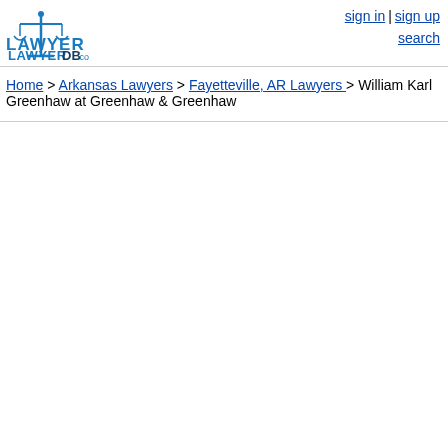LawyerDB.com | sign in | sign up | search
Home > Arkansas Lawyers > Fayetteville, AR Lawyers > William Karl Greenhaw at Greenhaw & Greenhaw